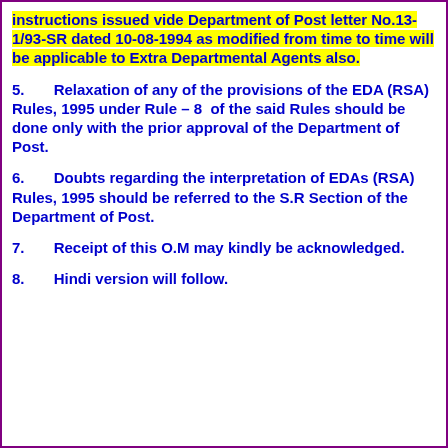instructions issued vide Department of Post letter No.13-1/93-SR dated 10-08-1994 as modified from time to time will be applicable to Extra Departmental Agents also.
5. Relaxation of any of the provisions of the EDA (RSA) Rules, 1995 under Rule – 8 of the said Rules should be done only with the prior approval of the Department of Post.
6. Doubts regarding the interpretation of EDAs (RSA) Rules, 1995 should be referred to the S.R Section of the Department of Post.
7. Receipt of this O.M may kindly be acknowledged.
8. Hindi version will follow.